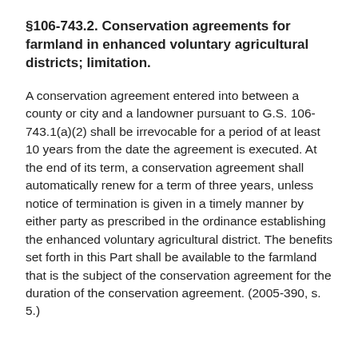§106-743.2. Conservation agreements for farmland in enhanced voluntary agricultural districts; limitation.
A conservation agreement entered into between a county or city and a landowner pursuant to G.S. 106-743.1(a)(2) shall be irrevocable for a period of at least 10 years from the date the agreement is executed. At the end of its term, a conservation agreement shall automatically renew for a term of three years, unless notice of termination is given in a timely manner by either party as prescribed in the ordinance establishing the enhanced voluntary agricultural district. The benefits set forth in this Part shall be available to the farmland that is the subject of the conservation agreement for the duration of the conservation agreement. (2005-390, s. 5.)